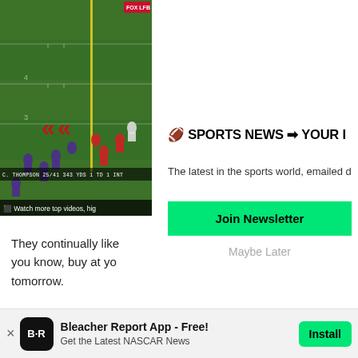[Figure (screenshot): Football game broadcast screenshot showing NFL field play, FOX LFB broadcast, C. Thompson 25/41 343 YDS 1 TD 1 INT overlay, red double chevron arrows, yellow yard marker line, 'Watch more top videos, hig' text bar]
🏈 SPORTS NEWS ➡ YOUR I
The latest in the sports world, emailed d
Join Newsletter
Maybe Later
They continually like you know, buy at yo tomorrow.
Other fans—I like to
Bleacher Report App - Free!
Get the Latest NASCAR News
Install